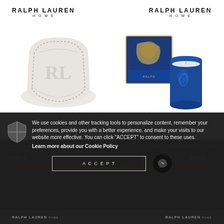RALPH LAUREN HOME
[Figure (photo): A folded light grey throw blanket with an embossed RL monogram logo, with grey stitched border.]
[Figure (photo): A navy blue Ralph Lauren candle in a glass with horse motif, next to its gold and blue branded box.]
THROW BLANKET - RL MONOGRAM CREAM/GREY SIZE
POLO RALPH LAUREN BARRETT COBALT
35,000 B.
4,500 B.
We use cookies and other tracking tools to personalize content, remember your preferences, provide you with a better experience, and make your visits to our website more effective. You can click "ACCEPT" to consent to these uses.
Learn more about our Cookie Policy
ACCEPT
RALPH LAUREN HOME